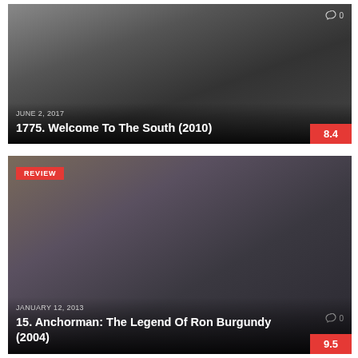[Figure (photo): Movie card for Welcome To The South (2010), dark background film still with date JUNE 2, 2017, comment count 0, and rating badge 8.4]
JUNE 2, 2017
1775. Welcome To The South (2010)
[Figure (photo): Movie card for Anchorman: The Legend Of Ron Burgundy (2004), showing cast in newsroom setting, with REVIEW badge, date JANUARY 12, 2013, comment count 0, and rating badge 9.5]
JANUARY 12, 2013
15. Anchorman: The Legend Of Ron Burgundy (2004)